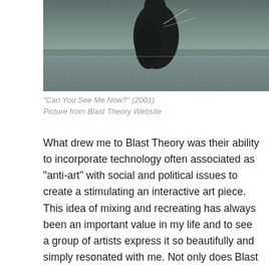[Figure (photo): A person dressed in dark clothing holding equipment (cables/gear) outdoors near a beach or open landscape, partially cropped at top. Dark and muted tones.]
“Can You See Me Now?” (2001)
Picture from Blast Theory Website
What drew me to Blast Theory was their ability to incorporate technology often associated as “anti-art” with social and political issues to create a stimulating an interactive art piece. This idea of mixing and recreating has always been an important value in my life and to see a group of artists express it so beautifully and simply resonated with me. Not only does Blast Theory feel like a source of comfort but also plays a part in inspiring me. Blast Theory stimulates both the audience and themselves. The artists within the group constantly try to challenge themselves with new technology, methods, and issues by pushing themselves to be more innovative and…